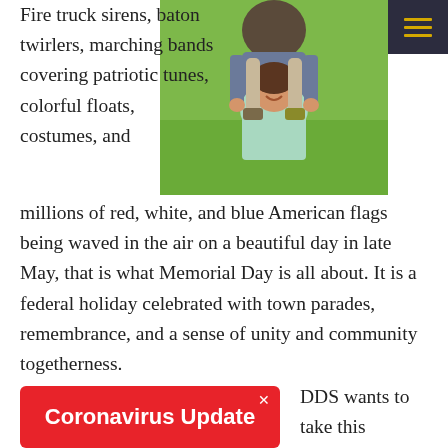Fire truck sirens, baton twirlers, marching bands covering patriotic tunes, colorful floats, costumes, and
[Figure (photo): A woman smiling with a child sitting on her shoulders outdoors on a sunny day with green grass in the background]
millions of red, white, and blue American flags being waved in the air on a beautiful day in late May, that is what Memorial Day is all about. It is a federal holiday celebrated with town parades, remembrance, and a sense of unity and community togetherness.
Coronavirus Update
DDS wants to take this